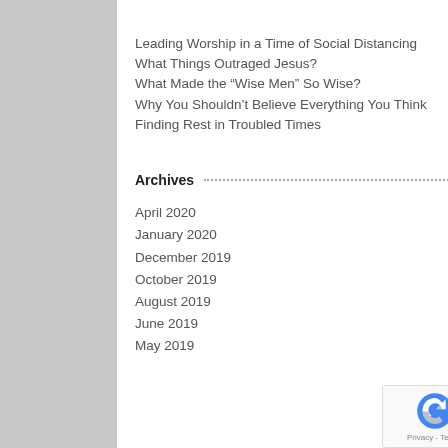Leading Worship in a Time of Social Distancing
What Things Outraged Jesus?
What Made the “Wise Men” So Wise?
Why You Shouldn’t Believe Everything You Think
Finding Rest in Troubled Times
Archives
April 2020
January 2020
December 2019
October 2019
August 2019
June 2019
May 2019